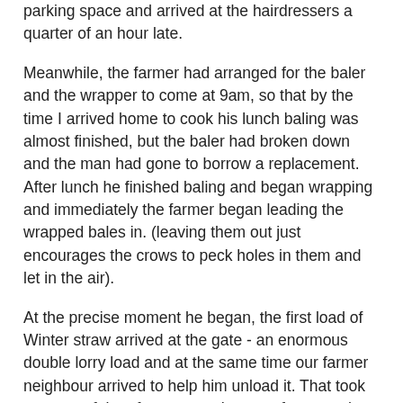parking space and arrived at the hairdressers a quarter of an hour late.
Meanwhile, the farmer had arranged for the baler and the wrapper to come at 9am, so that by the time I arrived home to cook his lunch baling was almost finished, but the baler had broken down and the man had gone to borrow a replacement. After lunch he finished baling and began wrapping and immediately the farmer began leading the wrapped bales in. (leaving them out just encourages the crows to peck holes in them and let in the air).
At the precise moment he began, the first load of Winter straw arrived at the gate - an enormous double lorry load and at the same time our farmer neighbour arrived to help him unload it. That took up most of the afternoon and now - after tea - the farmer is out again leading in the bales.
I have friends coming tomorrow for the weekend and I was doing a bit of tidying up of the utility room a while ago and opened the back door, only to find that the strong wind that is blowing today has blown a mountain of straw up against the